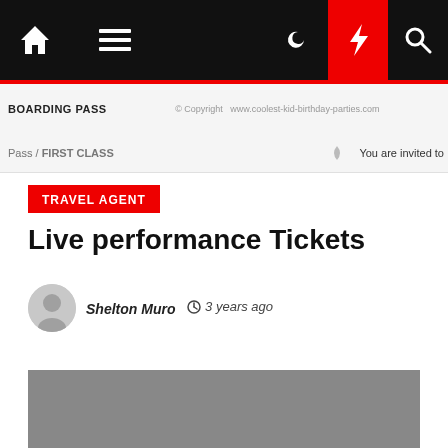Navigation bar with home, menu, moon, bolt, and search icons
BOARDING PASS  © Copyright  www.coolest-kid-birthday-parties.com
Pass / FIRST CLASS   You are invited to
TRAVEL AGENT
Live performance Tickets
Shelton Muro  ⊙ 3 years ago
[Figure (photo): Gray image placeholder at bottom of page]